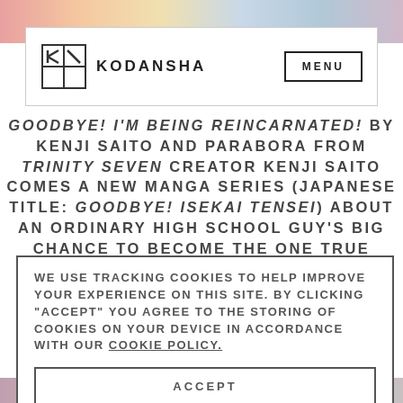[Figure (screenshot): Top colorful banner strip with manga artwork]
KODANSHA  MENU
GOODBYE! I'M BEING REINCARNATED! BY KENJI SAITO AND PARABORA FROM TRINITY SEVEN CREATOR KENJI SAITO COMES A NEW MANGA SERIES (JAPANESE TITLE: GOODBYE! ISEKAI TENSEI) ABOUT AN ORDINARY HIGH SCHOOL GUY'S BIG CHANCE TO BECOME THE ONE TRUE GREAT HERO WHEN ONE DAY HE'S GREETED BY
WE USE TRACKING COOKIES TO HELP IMPROVE YOUR EXPERIENCE ON THIS SITE. BY CLICKING "ACCEPT" YOU AGREE TO THE STORING OF COOKIES ON YOUR DEVICE IN ACCORDANCE WITH OUR COOKIE POLICY.
ACCEPT
MANAGE COOKIES